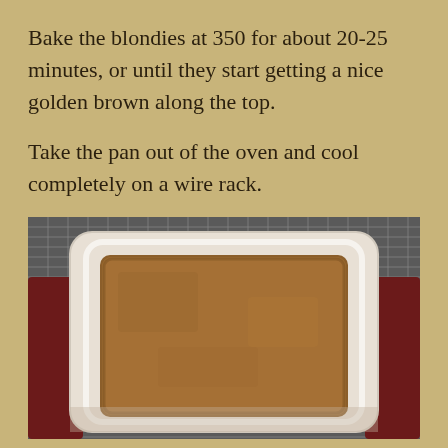Bake the blondies at 350 for about 20-25 minutes, or until they start getting a nice golden brown along the top.
Take the pan out of the oven and cool completely on a wire rack.
[Figure (photo): A white rectangular baking pan containing baked blondies with a golden brown top, sitting on a wire cooling rack. The pan is viewed from above at a slight angle.]